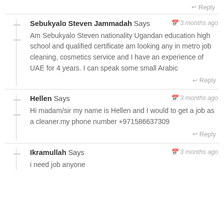↩ Reply
Sebukyalo Steven Jammadah Says
3 months ago
Am Sebukyalo Steven nationality Ugandan education high school and qualified certificate am looking any in metro job cleaning, cosmetics service and I have an experience of UAE for 4 years. I can speak some small Arabic
↩ Reply
Hellen Says
3 months ago
Hi madam/sir my name is Hellen and I would to get a job as a cleaner.my phone number +971586637309
↩ Reply
Ikramullah Says
3 months ago
i need job anyone